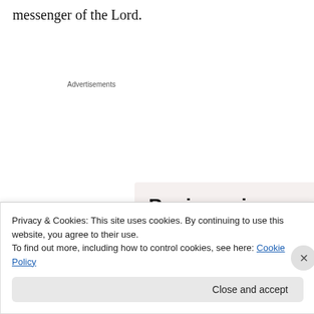messenger of the Lord.
Advertisements
[Figure (illustration): WordPress advertisement: 'Business in the front... WordPress in the back.' with colorful bubble gradient background in orange, pink, and purple tones.]
Privacy & Cookies: This site uses cookies. By continuing to use this website, you agree to their use.
To find out more, including how to control cookies, see here: Cookie Policy